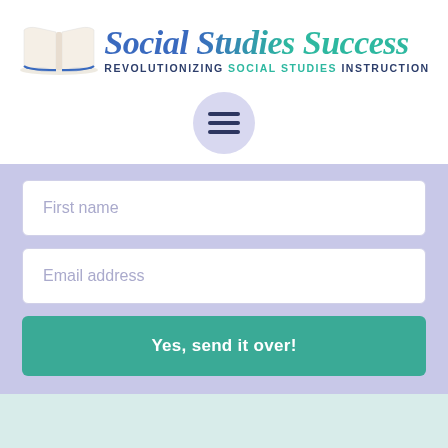[Figure (logo): Social Studies Success logo with open book illustration and brand name in blue and teal script with tagline REVOLUTIONIZING SOCIAL STUDIES INSTRUCTION]
[Figure (other): Purple circular hamburger menu navigation button with three horizontal dark blue lines]
First name
Email address
Yes, send it over!